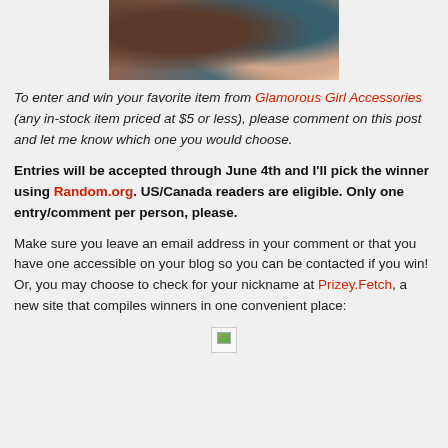[Figure (photo): Partial photo of a child with brown hair, cropped at top of page]
To enter and win your favorite item from Glamorous Girl Accessories (any in-stock item priced at $5 or less), please comment on this post and let me know which one you would choose.
Entries will be accepted through June 4th and I'll pick the winner using Random.org. US/Canada readers are eligible. Only one entry/comment per person, please.
Make sure you leave an email address in your comment or that you have one accessible on your blog so you can be contacted if you win! Or, you may choose to check for your nickname at Prizey.Fetch, a new site that compiles winners in one convenient place:
[Figure (photo): Small broken/placeholder image icon]